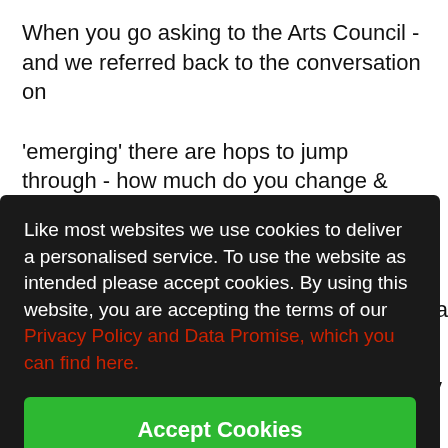When you go asking to the Arts Council - and we referred back to the conversation on
'emerging' there are hops to jump through - how much do you change & adapt what
you do in satisfying the funder? -( or the people who set you?)
Like most websites we use cookies to deliver a personalised service. To use the website as intended please accept cookies. By using this website, you are accepting the terms of our Privacy Policy and Data Promise, which you can find here.
Accept Cookies